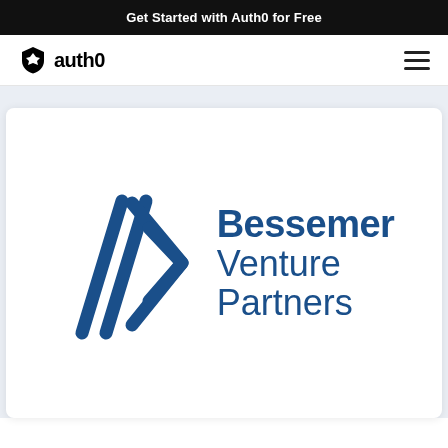Get Started with Auth0 for Free
[Figure (logo): Auth0 logo with shield icon and 'auth0' text in black, navigation bar with hamburger menu icon]
[Figure (logo): Bessemer Venture Partners logo: blue geometric arrow/chevron icon on left, 'Bessemer Venture Partners' text in dark blue on right]